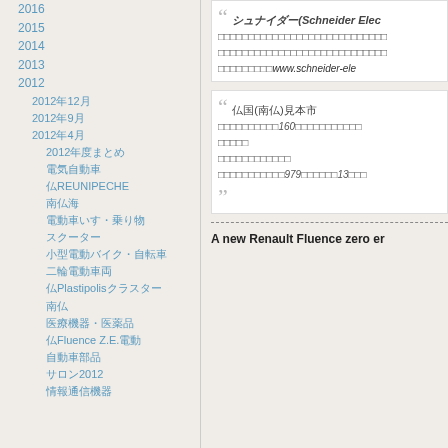2016
2015
2014
2013
2012
2012年12月
2012年9月
2012年4月
2012年度まとめ
電気自動車
仏REUNIPECHE
南仏海
電動車いす・乗り物
スクーター
小型電動バイク・自転車
二輪電動車両
仏Plastipolisクラスター
南仏
医療機器・医薬品
仏Fluence Z.E.電動
自動車部品
サロン2012
情報通信機器
シュナイダー(Schneider Elec... (quote title)
Quote body text in Japanese characters with www.schneider-ele...
仏国(南仏)見本市 quote content about 160 and 979 and 13
A new Renault Fluence zero er...